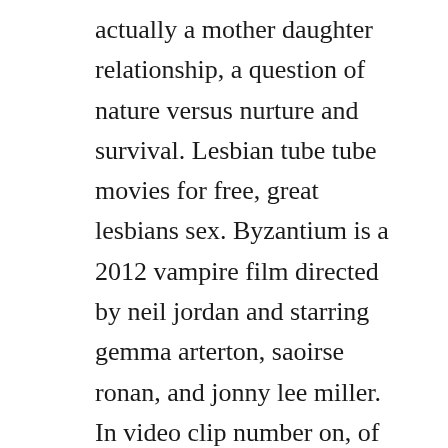actually a mother daughter relationship, a question of nature versus nurture and survival. Lesbian tube tube movies for free, great lesbians sex. Byzantium is a 2012 vampire film directed by neil jordan and starring gemma arterton, saoirse ronan, and jonny lee miller. In video clip number on, of gemma, half her pussy lip is out of her thong panties for the whole striptease. Byzantium 2012 full movie download full hd youtube. The story is disclosed in slow pace and the characters are very well constructed. Byzantium 20 rotten tomatoes byzantium is director neil jordans